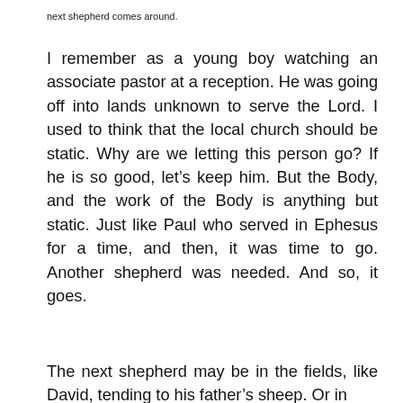next shepherd comes around.
I remember as a young boy watching an associate pastor at a reception. He was going off into lands unknown to serve the Lord. I used to think that the local church should be static. Why are we letting this person go? If he is so good, let’s keep him. But the Body, and the work of the Body is anything but static. Just like Paul who served in Ephesus for a time, and then, it was time to go. Another shepherd was needed. And so, it goes.
The next shepherd may be in the fields, like David, tending to his father’s sheep. Or in